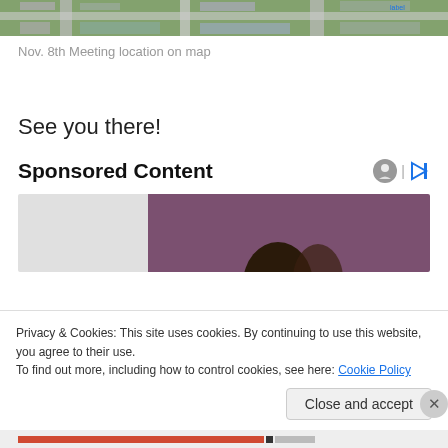[Figure (map): Aerial/satellite map view showing streets and buildings from above]
Nov. 8th Meeting location on map
See you there!
Sponsored Content
[Figure (photo): Advertisement image showing a person with dark curly hair in front of a purple/mauve background]
Privacy & Cookies: This site uses cookies. By continuing to use this website, you agree to their use.
To find out more, including how to control cookies, see here: Cookie Policy